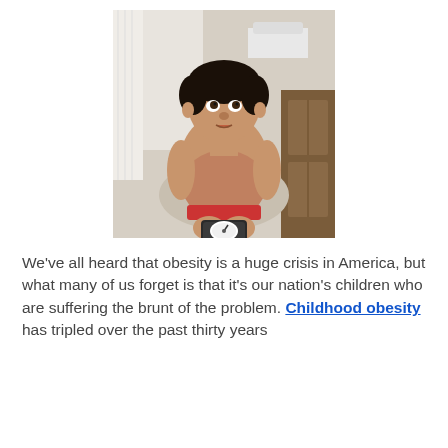[Figure (photo): Overhead/top-down photo of an overweight child standing shirtless on a bathroom scale in a bathroom setting. The child looks upward at the camera with a sad expression.]
We've all heard that obesity is a huge crisis in America, but what many of us forget is that it's our nation's children who are suffering the brunt of the problem. Childhood obesity has tripled over the past thirty years